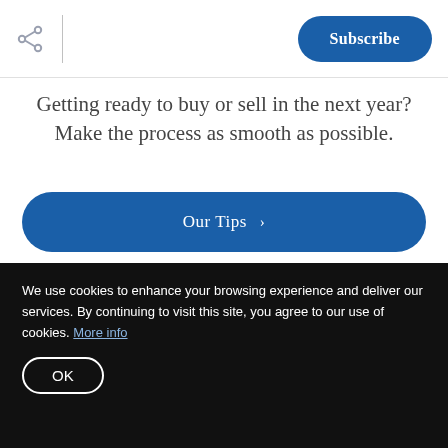Subscribe
Getting ready to buy or sell in the next year? Make the process as smooth as possible.
Our Tips >
[Figure (photo): A laptop screen displaying Harry Potter logo in blue tones, with a person partially visible to the left and candles/lights in the background]
We use cookies to enhance your browsing experience and deliver our services. By continuing to visit this site, you agree to our use of cookies. More info
OK